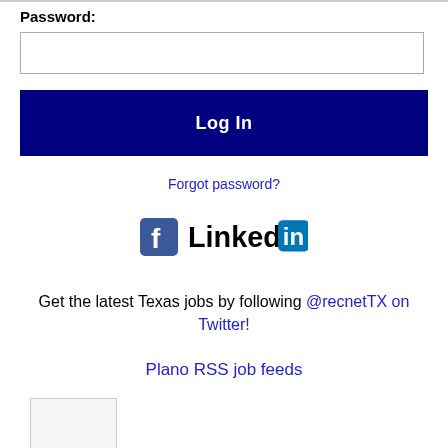Password:
Log In
Forgot password?
[Figure (logo): Facebook and LinkedIn social media logos side by side]
Get the latest Texas jobs by following @recnetTX on Twitter!
Plano RSS job feeds